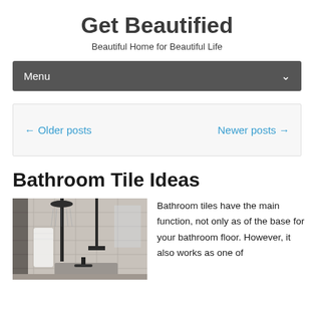Get Beautified
Beautiful Home for Beautiful Life
Menu
← Older posts    Newer posts →
Bathroom Tile Ideas
[Figure (photo): A modern bathroom interior showing a walk-in shower area with dark fixtures, a rain shower head, a white towel hanging, and light grey wall tiles.]
Bathroom tiles have the main function, not only as of the base for your bathroom floor. However, it also works as one of